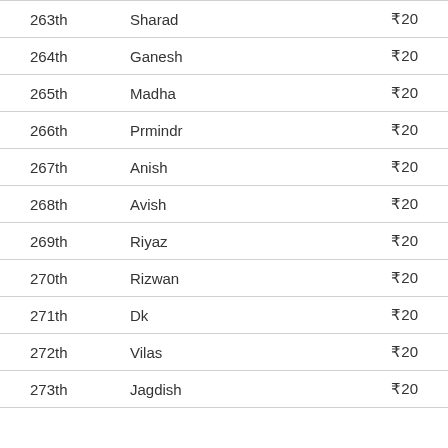| Rank | Name | Prize |
| --- | --- | --- |
| 263th | Sharad | ₹20 |
| 264th | Ganesh | ₹20 |
| 265th | Madha | ₹20 |
| 266th | Prmindr | ₹20 |
| 267th | Anish | ₹20 |
| 268th | Avish | ₹20 |
| 269th | Riyaz | ₹20 |
| 270th | Rizwan | ₹20 |
| 271th | Dk | ₹20 |
| 272th | Vilas | ₹20 |
| 273th | Jagdish | ₹20 |